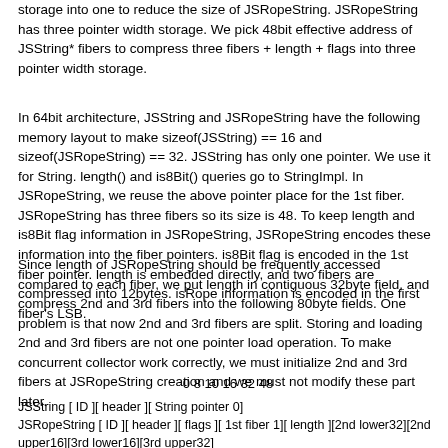storage into one to reduce the size of JSRopeString. JSRopeString has three pointer width storage. We pick 48bit effective address of JSString* fibers to compress three fibers + length + flags into three pointer width storage.
In 64bit architecture, JSString and JSRopeString have the following memory layout to make sizeof(JSString) == 16 and sizeof(JSRopeString) == 32. JSString has only one pointer. We use it for String. length() and is8Bit() queries go to StringImpl. In JSRopeString, we reuse the above pointer place for the 1st fiber. JSRopeString has three fibers so its size is 48. To keep length and is8Bit flag information in JSRopeString, JSRopeString encodes these information into the fiber pointers. is8Bit flag is encoded in the 1st fiber pointer. length is embedded directly, and two fibers are compressed into 12bytes. isRope information is encoded in the first fiber's LSB.
Since length of JSRopeString should be frequently accessed compared to each fiber, we put length in contiguous 32byte field, and compress 2nd and 3rd fibers into the following 80byte fields. One problem is that now 2nd and 3rd fibers are split. Storing and loading 2nd and 3rd fibers are not one pointer load operation. To make concurrent collector work correctly, we must initialize 2nd and 3rd fibers at JSRopeString creation and we must not modify these part later.
0 8 10 16 32 48
JSString [ ID ][ header ][ String pointer 0]
JSRopeString [ ID ][ header ][ flags ][ 1st fiber 1][ length ][2nd lower32][2nd upper16][3rd lower16][3rd upper32]